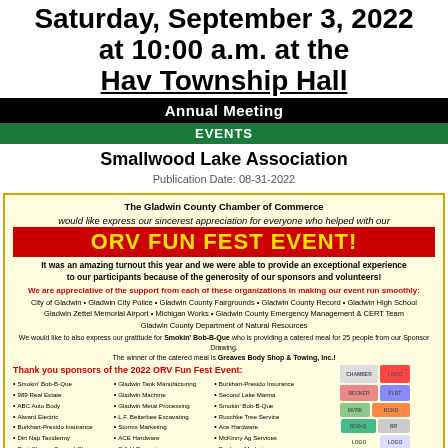Saturday, September 3, 2022 at 10:00 a.m. at the Hav Township Hall
Annual Meeting
EVENTS
Smallwood Lake Association
Publication Date: 08-31-2022
[Figure (infographic): Gladwin County Chamber of Commerce ORV Fun Fest Event advertisement on yellow background with red banner. Includes thank you message, list of supporting organizations, and sponsor logos.]